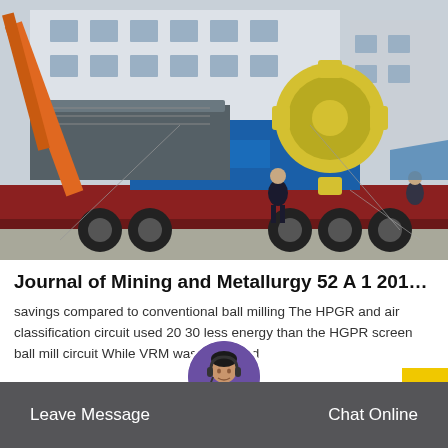[Figure (photo): Industrial mining/mineral processing equipment being loaded onto a flatbed truck. A large blue machine and a yellow gear/wheel mechanism are visible on the truck. An orange crane is lifting equipment. Workers are present. A factory building is in the background.]
Journal of Mining and Metallurgy 52 A 1 2016 …
savings compared to conventional ball milling The HPGR and air classification circuit used 20 30 less energy than the HGPR screen ball mill circuit While VRM was estimated
Read More
Leave Message   Chat Online